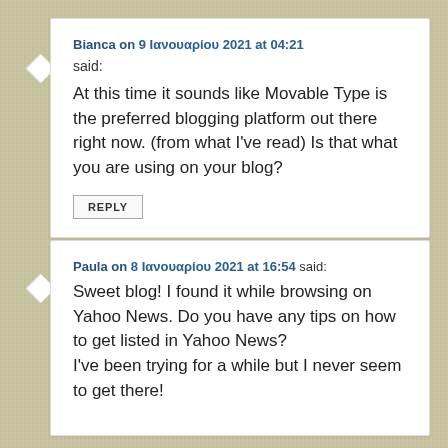Bianca on 9 Ιανουαρίου 2021 at 04:21 said: At this time it sounds like Movable Type is the preferred blogging platform out there right now. (from what I've read) Is that what you are using on your blog?
Paula on 8 Ιανουαρίου 2021 at 16:54 said: Sweet blog! I found it while browsing on Yahoo News. Do you have any tips on how to get listed in Yahoo News? I've been trying for a while but I never seem to get there!